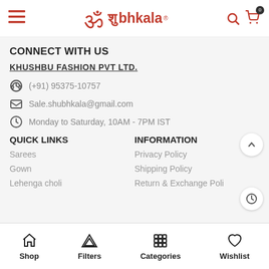Shubhkala — hamburger menu, logo, search, cart (0)
CONNECT WITH US
KHUSHBU FASHION PVT LTD.
(+91) 95375-10757
Sale.shubhkala@gmail.com
Monday to Saturday, 10AM - 7PM IST
QUICK LINKS
INFORMATION
Sarees
Privacy Policy
Gown
Shipping Policy
Lehenga choli
Return & Exchange Policy
Shop | Filters | Categories | Wishlist